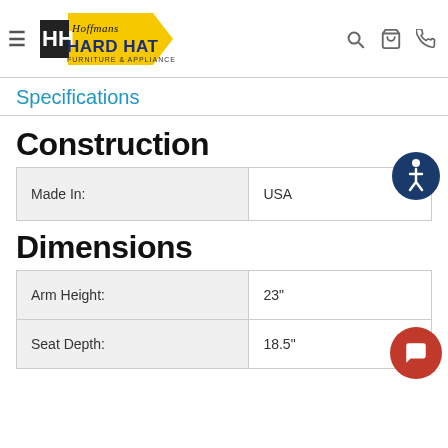Hoffmans Hard Hat Furniture & Appliance
Specifications
Construction
| Made In: |  |
| --- | --- |
| Made In: | USA |
Dimensions
|  |  |
| --- | --- |
| Arm Height: | 23" |
| Seat Depth: | 18.5" |